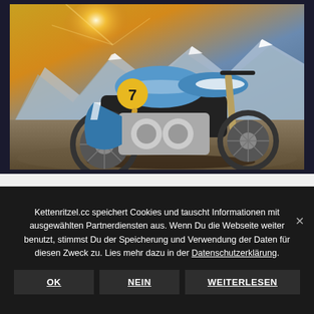[Figure (photo): A vintage cafe racer motorcycle with blue paint and the number 7 on a yellow circle, parked on a mountain road with snowy peaks and dramatic sunlight in the background.]
Kettenritzel.cc speichert Cookies und tauscht Informationen mit ausgewählten Partnerdiensten aus. Wenn Du die Webseite weiter benutzt, stimmst Du der Speicherung und Verwendung der Daten für diesen Zweck zu. Lies mehr dazu in der Datenschutzerklärung.
OK
NEIN
WEITERLESEN